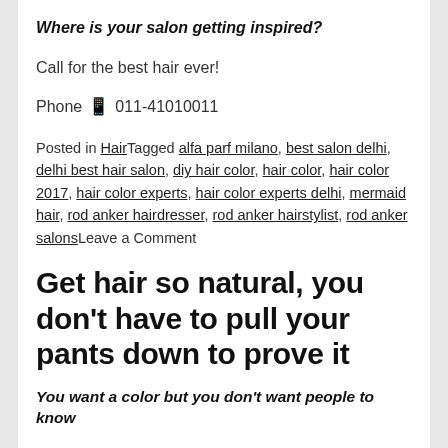Where is your salon getting inspired?
Call for the best hair ever!
Phone 📱 011-41010011
Posted in HairTagged alfa parf milano, best salon delhi, delhi best hair salon, diy hair color, hair color, hair color 2017, hair color experts, hair color experts delhi, mermaid hair, rod anker hairdresser, rod anker hairstylist, rod anker salonsLeave a Comment
Get hair so natural, you don't have to pull your pants down to prove it
You want a color but you don't want people to know